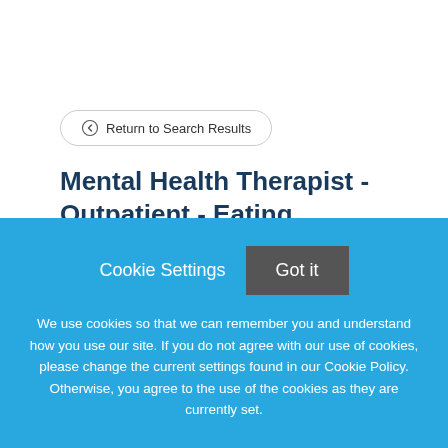Return to Search Results
Mental Health Therapist - Outpatient - Eating Disorders
Is this you?Wanting to deliver high quality behavioral
Cookie Settings
Got it
We use cookies so that we can remember you and understand how you use our site. If you do not agree with our use of cookies, please change the current settings found in our Cookie Policy. Otherwise, you agree to the use of the cookies as they are currently set.